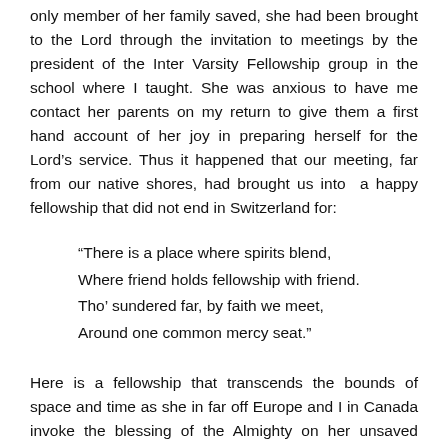only member of her family saved, she had been brought to the Lord through the invitation to meetings by the president of the Inter Varsity Fellowship group in the school where I taught. She was anxious to have me contact her parents on my return to give them a first hand account of her joy in preparing herself for the Lord's service. Thus it happened that our meeting, far from our native shores, had brought us into a happy fellowship that did not end in Switzerland for:
“There is a place where spirits blend,
Where friend holds fellowship with friend.
Tho’ sundered far, by faith we meet,
Around one common mercy seat.”
Here is a fellowship that transcends the bounds of space and time as she in far off Europe and I in Canada invoke the blessing of the Almighty on her unsaved parents.